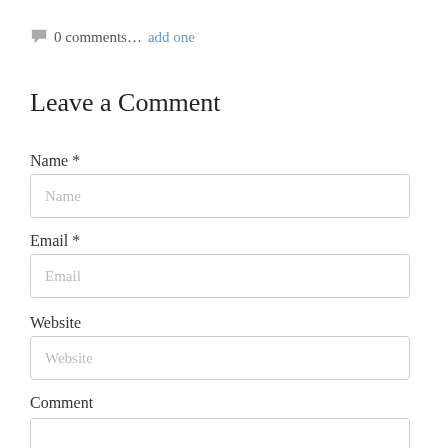💬 0 comments… add one
Leave a Comment
Name *
Email *
Website
Comment